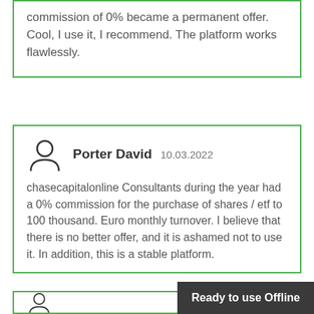commission of 0% became a permanent offer. Cool, I use it, I recommend. The platform works flawlessly.
Porter David  10.03.2022
chasecapitalonline Consultants during the year had a 0% commission for the purchase of shares / etf to 100 thousand. Euro monthly turnover. I believe that there is no better offer, and it is ashamed not to use it. In addition, this is a stable platform.
Ready to use Offline